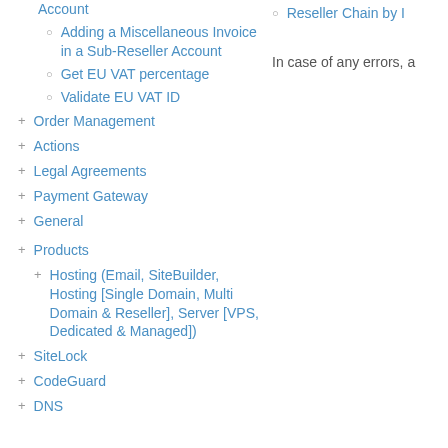Account
Adding a Miscellaneous Invoice in a Sub-Reseller Account
Get EU VAT percentage
Validate EU VAT ID
Order Management
Actions
Legal Agreements
Payment Gateway
General
Products
Hosting (Email, SiteBuilder, Hosting [Single Domain, Multi Domain & Reseller], Server [VPS, Dedicated & Managed])
SiteLock
CodeGuard
DNS
Reseller Chain by I
In case of any errors, a